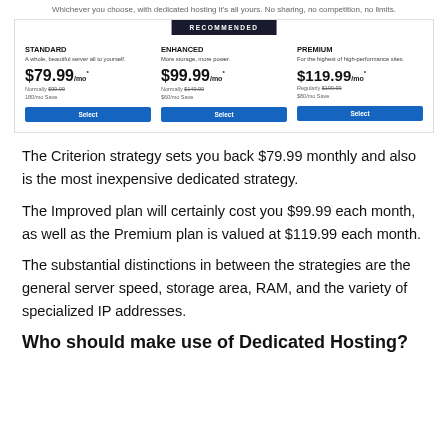Whichever you choose, with dedicated hosting it's all yours. No sharing, no competition, no limits.
[Figure (screenshot): Pricing table showing three dedicated hosting plans: Standard at $79.99/mo, Enhanced (Recommended) at $99.99/mo, and Premium at $119.99/mo, each with a Select button.]
The Criterion strategy sets you back $79.99 monthly and also is the most inexpensive dedicated strategy.
The Improved plan will certainly cost you $99.99 each month, as well as the Premium plan is valued at $119.99 each month.
The substantial distinctions in between the strategies are the general server speed, storage area, RAM, and the variety of specialized IP addresses.
Who should make use of Dedicated Hosting?